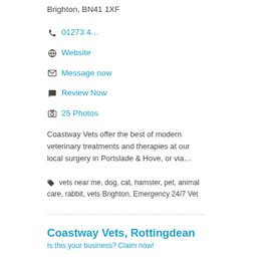Brighton, BN41 1XF
01273 4...
Website
Message now
Review Now
25 Photos
Coastway Vets offer the best of modern veterinary treatments and therapies at our local surgery in Portslade & Hove, or via...
vets near me, dog, cat, hamster, pet, animal care, rabbit, vets Brighton, Emergency 24/7 Vet
Coastway Vets, Rottingdean
Is this your business? Claim now!